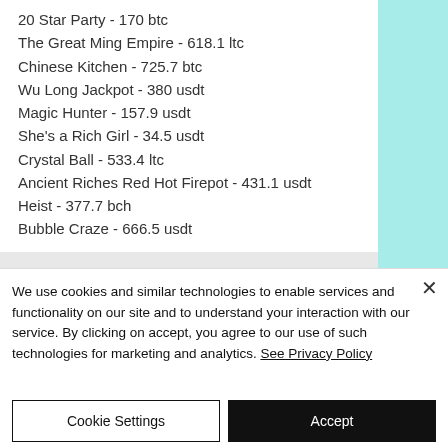20 Star Party - 170 btc
The Great Ming Empire - 618.1 ltc
Chinese Kitchen - 725.7 btc
Wu Long Jackpot - 380 usdt
Magic Hunter - 157.9 usdt
She's a Rich Girl - 34.5 usdt
Crystal Ball - 533.4 ltc
Ancient Riches Red Hot Firepot - 431.1 usdt
Heist - 377.7 bch
Bubble Craze - 666.5 usdt
We use cookies and similar technologies to enable services and functionality on our site and to understand your interaction with our service. By clicking on accept, you agree to our use of such technologies for marketing and analytics. See Privacy Policy